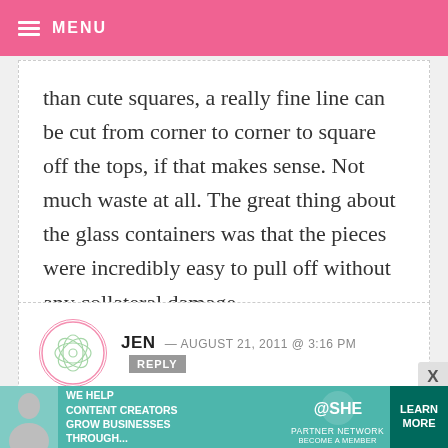MENU
than cute squares, a really fine line can be cut from corner to corner to square off the tops, if that makes sense. Not much waste at all. The great thing about the glass containers was that the pieces were incredibly easy to pull off without any collateral damage.
JEN — AUGUST 21, 2011 @ 3:16 PM  REPLY
I made these yesterday. They look